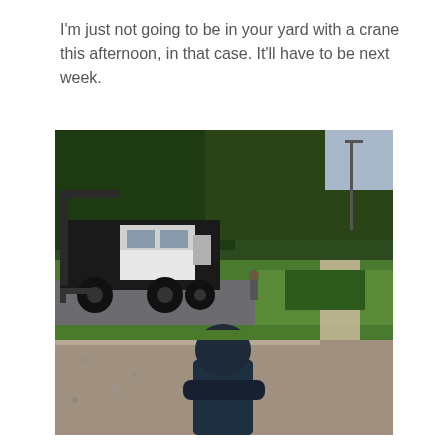I'm just not going to be in your yard with a crane this afternoon, in that case. It'll have to be next week.
[Figure (photo): A child in a blue shirt viewed from behind, standing in a gravel/concrete driveway area, looking toward a large white crane truck parked on a residential street, surrounded by green trees and grass. A sidewalk runs along the right side. A person is visible in the background near the street.]